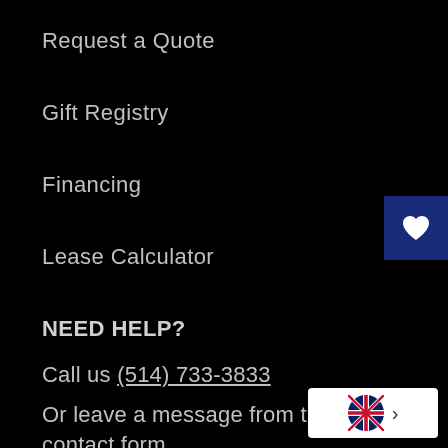Request a Quote
Gift Registry
Financing
Lease Calculator
NEED HELP?
Call us (514) 733-3833
Or leave a message from the contact form
[Figure (other): UK flag language selector button with arrow]